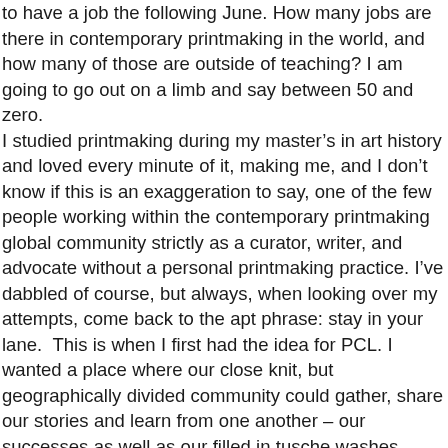to have a job the following June. How many jobs are there in contemporary printmaking in the world, and how many of those are outside of teaching? I am going to go out on a limb and say between 50 and zero. I studied printmaking during my master's in art history and loved every minute of it, making me, and I don't know if this is an exaggeration to say, one of the few people working within the contemporary printmaking global community strictly as a curator, writer, and advocate without a personal printmaking practice. I've dabbled of course, but always, when looking over my attempts, come back to the apt phrase: stay in your lane.  This is when I first had the idea for PCL. I wanted a place where our close knit, but geographically divided community could gather, share our stories and learn from one another – our successes as well as our filled in tusche washes.